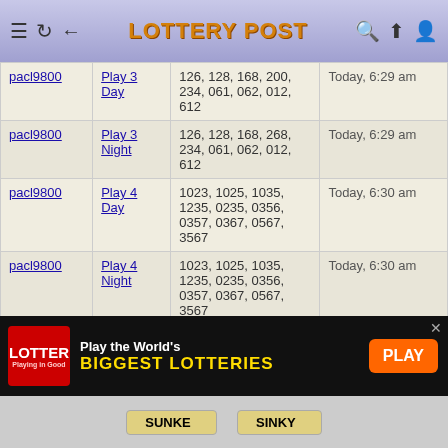Lottery Post
| User | Game | Numbers | Date |
| --- | --- | --- | --- |
| pacl9800 | Play 3 Day | 126, 128, 168, 200, 234, 061, 062, 012, 612 | Today, 6:29 am |
| pacl9800 | Play 3 Night | 126, 128, 168, 268, 234, 061, 062, 012, 612 | Today, 6:29 am |
| pacl9800 | Play 4 Day | 1023, 1025, 1035, 1235, 0235, 0356, 0357, 0367, 0567, 3567 | Today, 6:30 am |
| pacl9800 | Play 4 Night | 1023, 1025, 1035, 1235, 0235, 0356, 0357, 0367, 0567, 3567 | Today, 6:30 am |
| phantom3 | Play 3 Day | 745, 749, 856, 229, 228 | Yesterday, 8:59 am |
| phantom3 | Play 3 Night | 745, 749, 856, 229, 228 | Yesterday, 8:59 am |
| play4shekels | Powerball | 20-21-37-49-63 +17 ** 20-21-37-49-63 +23 ** 10-21-37-49-63 +17 ** | Today, 10:58 am |
[Figure (other): Advertisement banner for theLotter: Play the World's BIGGEST LOTTERIES with PLAY button]